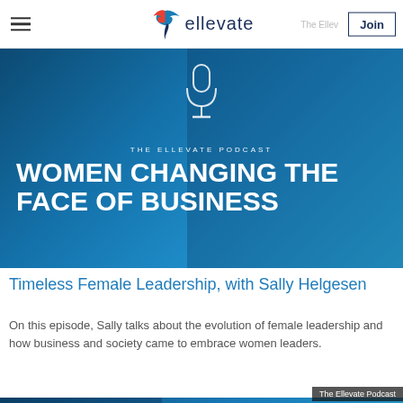ellevate | Join
[Figure (photo): The Ellevate Podcast banner image with blue overlay showing a woman speaking. Text reads: THE ELLEVATE PODCAST / WOMEN CHANGING THE FACE OF BUSINESS]
Timeless Female Leadership, with Sally Helgesen
On this episode, Sally talks about the evolution of female leadership and how business and society came to embrace women leaders.
[Figure (photo): Second Ellevate Podcast thumbnail showing a person with glasses. Badge reads: The Ellevate Podcast. Text reads: THE ELLEVATE PODCAST]